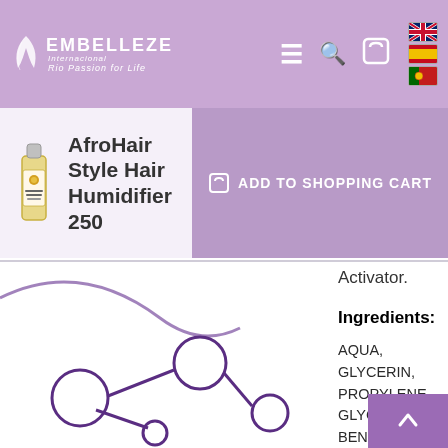EMBELLEZE Rio Passion for Life — navigation header with flags, hamburger menu, search, cart
AfroHair Style Hair Humidifier 250
ADD TO SHOPPING CART
Activator.
Ingredients:
AQUA, GLYCERIN, PROPYLENE GLYCOL, BENZYL ALCOHOL, CETEARYL ALCOHOL, BEHENTRIMONIUM METHOSULFATE, BEHENTRIMONIUM CHLORIDE, PARFUM, CETEARETH-20, ISOPROPYL ALCOHOL, BENZOIC ACID, BHT, SORBOOL ACID, HEXYL CINNAMAL, LINAL, RICINUS COMMUNIS SEED OIL, AMYL CINNAMAL, D-LIMONENE